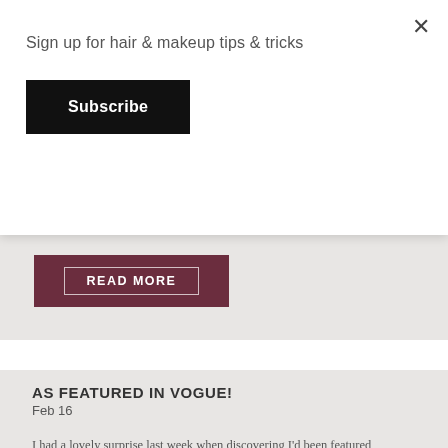Sign up for hair & makeup tips & tricks
Subscribe
in Knightsbridge and she kindly sent me some of her products to try out in my kit. We recommend Shavata to our brides if they need a bit of help in the eyebrow [...]
READ MORE
AS FEATURED IN VOGUE!
Feb 16
I had a lovely surprise last week when discovering I'd been featured